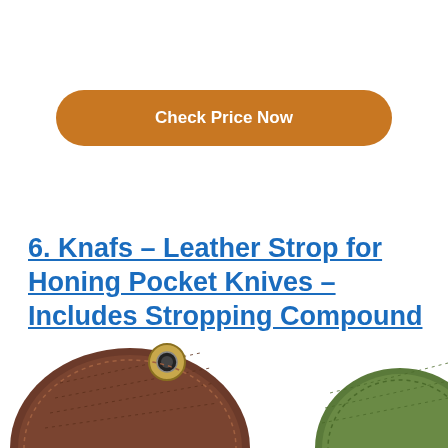Check Price Now
6. Knafs – Leather Strop for Honing Pocket Knives – Includes Stropping Compound
[Figure (photo): Partial view of two leather strops: one brown with a metal eyelet ring at top left, and one green at bottom right, both partially cropped at the page edge.]